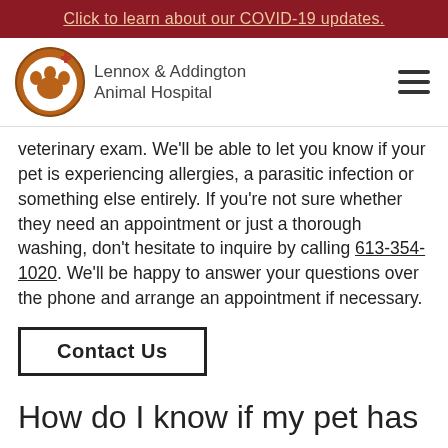Click to learn about our COVID-19 updates.
[Figure (logo): Lennox & Addington Animal Hospital logo with paw print and red cross]
veterinary exam. We'll be able to let you know if your pet is experiencing allergies, a parasitic infection or something else entirely. If you're not sure whether they need an appointment or just a thorough washing, don't hesitate to inquire by calling 613-354-1020. We'll be happy to answer your questions over the phone and arrange an appointment if necessary.
Contact Us
How do I know if my pet has a